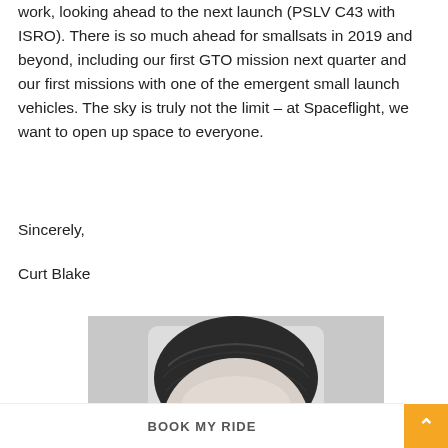work, looking ahead to the next launch (PSLV C43 with ISRO). There is so much ahead for smallsats in 2019 and beyond, including our first GTO mission next quarter and our first missions with one of the emergent small launch vehicles. The sky is truly not the limit – at Spaceflight, we want to open up space to everyone.
Sincerely,
Curt Blake
[Figure (photo): Black and white portrait photo of a man, cropped to show the top of his head and face.]
BOOK MY RIDE